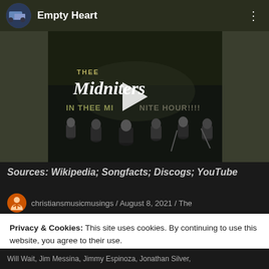[Figure (screenshot): YouTube video player showing 'Empty Heart' with Thee Midniters album art 'IN THEE MIDNITE HOUR!!!!' with a band playing on stage in black and white]
Sources: Wikipedia; Songfacts; Discogs; YouTube
christiansmusicmusings / August 8, 2021 / The
Privacy & Cookies: This site uses cookies. By continuing to use this website, you agree to their use.
To find out more, including how to control cookies, see here:
Cookie Policy
Close and accept
Will Wait, Jim Messina, Jimmy Espinoza, Jonathan Silver,